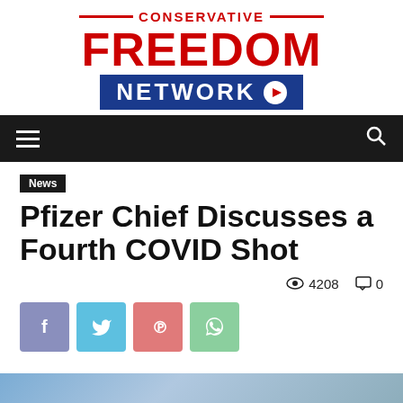[Figure (logo): Conservative Freedom Network logo with red text and blue network bar with play button]
[Figure (screenshot): Navigation bar with hamburger menu and search icon on black background]
News
Pfizer Chief Discusses a Fourth COVID Shot
4208 views, 0 comments
[Figure (infographic): Social share buttons: Facebook, Twitter, Pinterest, WhatsApp]
[Figure (photo): Partial article image at bottom of page]